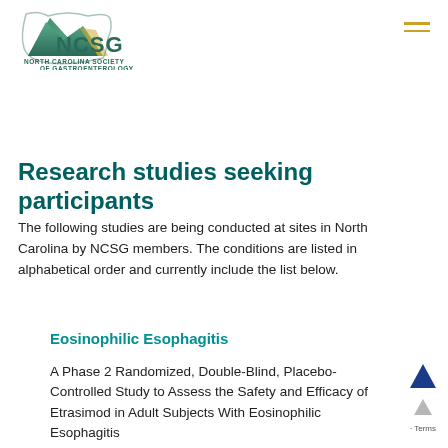[Figure (logo): NCSG - North Carolina Society of Gastroenterology logo with mountain/landscape graphic in teal and gold colors]
Research studies seeking participants
The following studies are being conducted at sites in North Carolina by NCSG members. The conditions are listed in alphabetical order and currently include the list below.
Eosinophilic Esophagitis
A Phase 2 Randomized, Double-Blind, Placebo-Controlled Study to Assess the Safety and Efficacy of Etrasimod in Adult Subjects With Eosinophilic Esophagitis Study title A Phase [...]